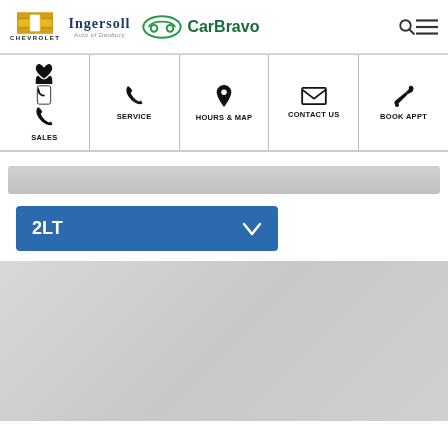[Figure (logo): Chevrolet Ingersoll Auto of Danbury and CarBravo logos in header]
[Figure (infographic): Navigation bar with Sales, Service, Hours & Map, Contact Us, Book Appt icons]
[Figure (other): Gray search/filter bar]
2LT
[Figure (photo): Large gray gradient area at bottom of page]